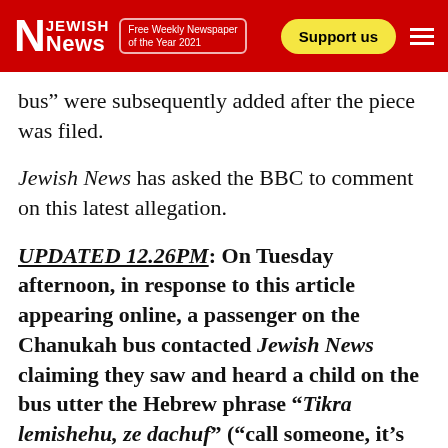Jewish News – Free Weekly Newspaper of the Year 2021 | Support us
bus” were subsequently added after the piece was filed.
Jewish News has asked the BBC to comment on this latest allegation.
UPDATED 12.26PM: On Tuesday afternoon, in response to this article appearing online, a passenger on the Chanukah bus contacted Jewish News claiming they saw and heard a child on the bus utter the Hebrew phrase “Tikra lemishehu, ze dachuf” (“call someone, it’s urgent”) while the attack took place. It is believed the BBC understood this to be an anti-Muslim slur spoken in English.